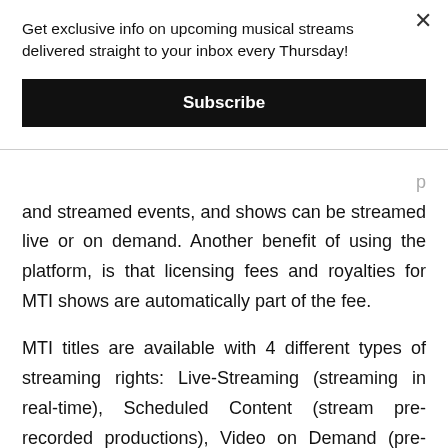Get exclusive info on upcoming musical streams delivered straight to your inbox every Thursday!
Subscribe
and streamed events, and shows can be streamed live or on demand. Another benefit of using the platform, is that licensing fees and royalties for MTI shows are automatically part of the fee.
MTI titles are available with 4 different types of streaming rights: Live-Streaming (streaming in real-time), Scheduled Content (stream pre-recorded productions), Video on Demand (pre-recorded video